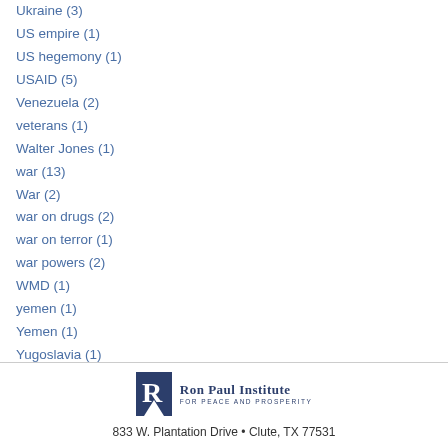Ukraine (3)
US empire (1)
US hegemony (1)
USAID (5)
Venezuela (2)
veterans (1)
Walter Jones (1)
war (13)
War (2)
war on drugs (2)
war on terror (1)
war powers (2)
WMD (1)
yemen (1)
Yemen (1)
Yugoslavia (1)
[Figure (logo): Ron Paul Institute for Peace and Prosperity logo with stylized R icon]
833 W. Plantation Drive • Clute, TX 77531